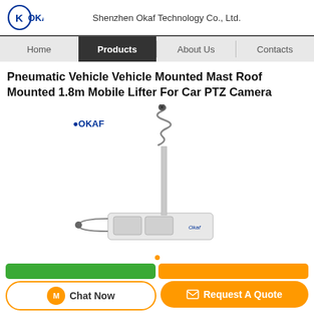OKAF  Shenzhen Okaf Technology Co., Ltd.
Home | Products | About Us | Contacts
Pneumatic Vehicle Vehicle Mounted Mast Roof Mounted 1.8m Mobile Lifter For Car PTZ Camera
[Figure (photo): Product photo of a pneumatic vehicle-mounted mast/lifter device with OKAF logo, showing a white base unit with an extendable spiral mast pole, on a white background.]
Chat Now  Request A Quote